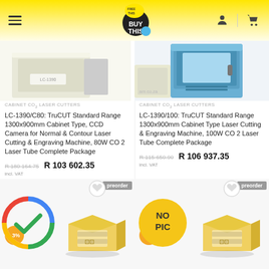BUY THIS
[Figure (photo): Laser cutter machine product image left, partially visible at top]
[Figure (photo): Laser cutter machine product image right, partially visible at top, am.co.za watermark]
CABINET CO₂ LASER CUTTERS
LC-1390/C80: TruCUT Standard Range 1300x900mm Cabinet Type, CCD Camera for Normal & Contour Laser Cutting & Engraving Machine, 80W CO 2 Laser Tube Complete Package
R 180 164.75  R 103 602.35
incl. VAT
CABINET CO₂ LASER CUTTERS
LC-1390/100: TruCUT Standard Range 1300x900mm Cabinet Type Laser Cutting & Engraving Machine, 100W CO 2 Laser Tube Complete Package
R 115 650.90  R 106 937.35
incl. VAT
[Figure (photo): Product box thumbnail left with Google-review checkmark overlay, -3% discount badge, preorder badge, heart button]
[Figure (photo): Product box thumbnail right with NO PIC placeholder, -3% discount badge, preorder badge, heart button]